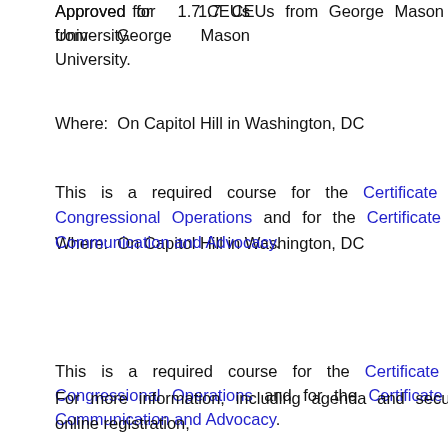Approved for 1.7 CEUs from George Mason University.
Where: On Capitol Hill in Washington, DC
This is a required course for the Certificate in Congressional Operations and for the Certificate in Communication and Advocacy.
For more information, including agenda and secure online registration,